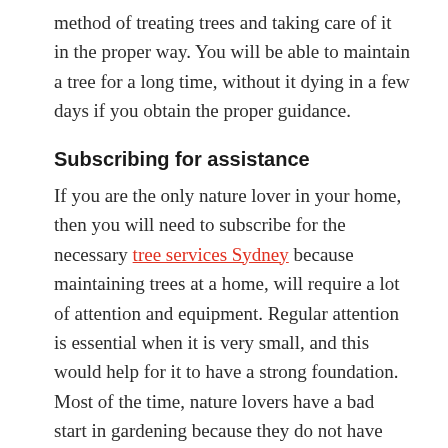method of treating trees and taking care of it in the proper way. You will be able to maintain a tree for a long time, without it dying in a few days if you obtain the proper guidance.
Subscribing for assistance
If you are the only nature lover in your home, then you will need to subscribe for the necessary tree services Sydney because maintaining trees at a home, will require a lot of attention and equipment. Regular attention is essential when it is very small, and this would help for it to have a strong foundation. Most of the time, nature lovers have a bad start in gardening because they do not have the adequate training, and this would lead to